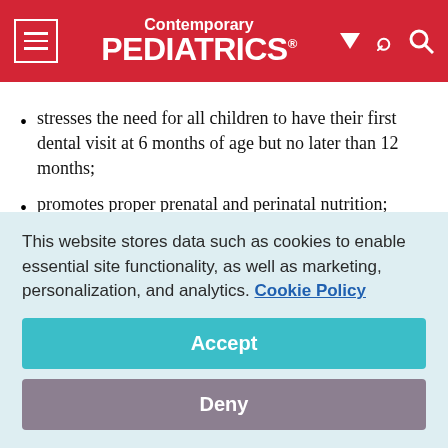Contemporary PEDIATRICS
stresses the need for all children to have their first dental visit at 6 months of age but no later than 12 months;
promotes proper prenatal and perinatal nutrition;
teaches parents the simple procedures for cleaning the teeth of even the youngest children27; and that
familiarizes children with the ease of cleaning and the
This website stores data such as cookies to enable essential site functionality, as well as marketing, personalization, and analytics. Cookie Policy
Accept
Deny